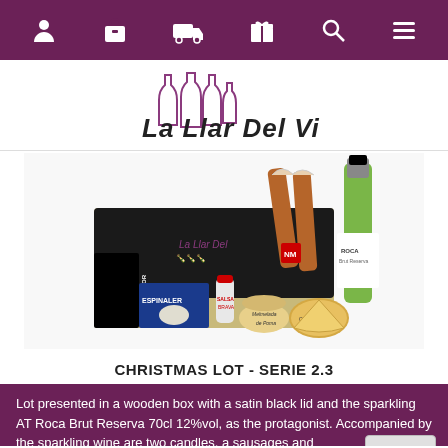Navigation bar with icons: user, bag, delivery, gift, search, menu
[Figure (logo): La Llar Del Vi logo with wine bottle illustrations and handwritten text]
[Figure (photo): Christmas lot product photo showing a wooden box with satin black lid branded La Llar Del Vi, containing sparkling wine bottle AT Roca Brut Reserva, sausages, cheese, Espinaler products, and other gourmet items]
CHRISTMAS LOT - SERIE 2.3
Lot presented in a wooden box with a satin black lid and the sparkling AT Roca Brut Reserva 70cl 12%vol, as the protagonist. Accompanied by the sparkling wine are two candles, a sausages and